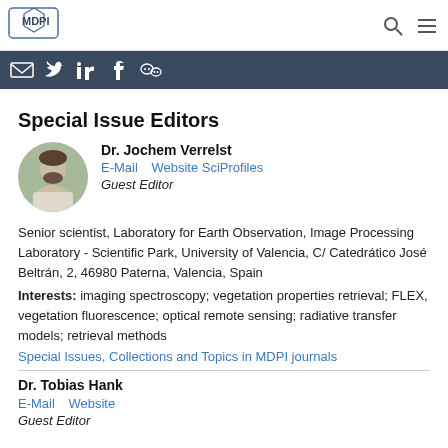MDPI
[Figure (logo): MDPI logo - hexagonal shape with MDPI text]
[Figure (infographic): Social media sharing icons: email, Twitter, LinkedIn, Facebook, WeChat]
Special Issue Editors
[Figure (photo): Circular photo of Dr. Jochem Verrelst]
Dr. Jochem Verrelst
E-Mail    Website SciProfiles
Guest Editor
Senior scientist, Laboratory for Earth Observation, Image Processing Laboratory - Scientific Park, University of Valencia, C/ Catedrático José Beltrán, 2, 46980 Paterna, Valencia, Spain
Interests: imaging spectroscopy; vegetation properties retrieval; FLEX, vegetation fluorescence; optical remote sensing; radiative transfer models; retrieval methods
Special Issues, Collections and Topics in MDPI journals
Dr. Tobias Hank
E-Mail    Website
Guest Editor